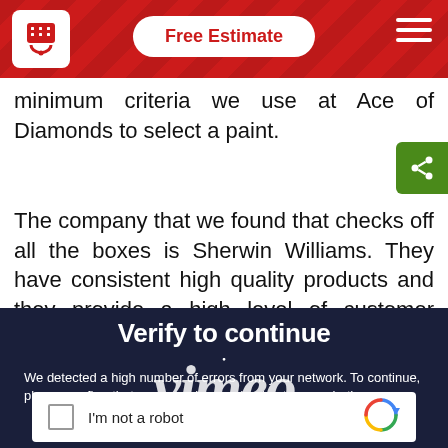Free Estimate
minimum criteria we use at Ace of Diamonds to select a paint.
The company that we found that checks off all the boxes is Sherwin Williams. They have consistent high quality products and they provide a high level of customer service
[Figure (screenshot): Vimeo 'Verify to continue' overlay on dark navy background with reCAPTCHA widget. Text reads: 'Verify to continue. We detected a high number of errors from your network. To continue, please confirm that you are a human (and not a spambot).' with an 'I'm not a robot' checkbox.]